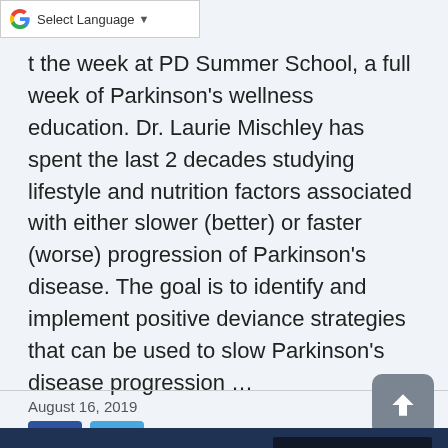Select Language
t the week at PD Summer School, a full week of Parkinson's wellness education. Dr. Laurie Mischley has spent the last 2 decades studying lifestyle and nutrition factors associated with either slower (better) or faster (worse) progression of Parkinson's disease. The goal is to identify and implement positive deviance strategies that can be used to slow Parkinson's disease progression …
August 16, 2019
This site uses cookies: Find
OKAY, THANKS